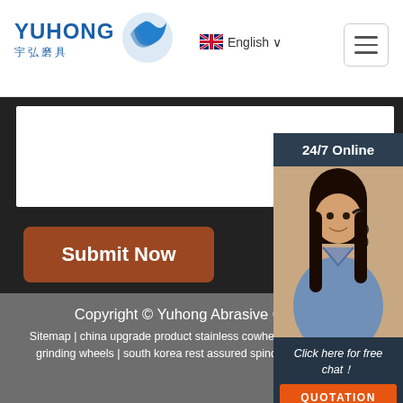[Figure (logo): Yuhong Abrasive logo with Chinese characters 宇弘磨具 and blue wave icon]
English ∨
[Figure (screenshot): Hamburger menu button]
[Figure (photo): White form input area]
Submit Now
[Figure (photo): 24/7 Online chat widget with customer service representative photo, Click here for free chat!, and QUOTATION button]
Copyright © Yuhong Abrasive Co., Ltd.
Sitemap | china upgrade product stainless cowheel | moldova section grinding wheels | south korea rest assured spindle grinding wheels